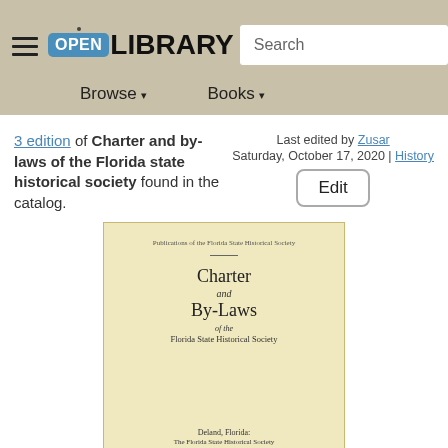Open Library — Browse | Books | Search
3 edition of Charter and by-laws of the Florida state historical society found in the catalog.
Last edited by Zusar
Saturday, October 17, 2020 | History
Edit
[Figure (photo): Book cover of 'Charter and By-Laws of the Florida State Historical Society', published in Deland, Florida by The Florida State Historical Society, 1927. Cover has a pale yellow/cream background with text in classic serif typography.]